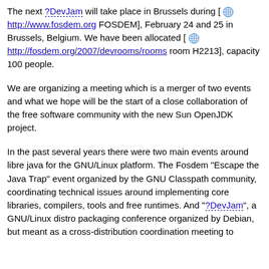The next ?DevJam will take place in Brussels during [ http://www.fosdem.org FOSDEM], February 24 and 25 in Brussels, Belgium. We have been allocated [ http://fosdem.org/2007/devrooms/rooms room H2213], capacity 100 people.
We are organizing a meeting which is a merger of two events and what we hope will be the start of a close collaboration of the free software community with the new Sun OpenJDK project.
In the past several years there were two main events around libre java for the GNU/Linux platform. The Fosdem "Escape the Java Trap" event organized by the GNU Classpath community, coordinating technical issues around implementing core libraries, compilers, tools and free runtimes. And "?DevJam", a GNU/Linux distro packaging conference organized by Debian, but meant as a cross-distribution coordination meeting to